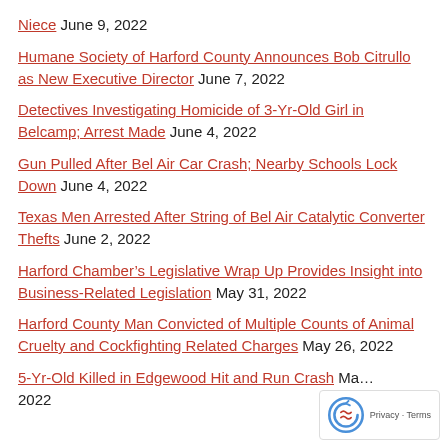Niece June 9, 2022
Humane Society of Harford County Announces Bob Citrullo as New Executive Director June 7, 2022
Detectives Investigating Homicide of 3-Yr-Old Girl in Belcamp; Arrest Made June 4, 2022
Gun Pulled After Bel Air Car Crash; Nearby Schools Lock Down June 4, 2022
Texas Men Arrested After String of Bel Air Catalytic Converter Thefts June 2, 2022
Harford Chamber’s Legislative Wrap Up Provides Insight into Business-Related Legislation May 31, 2022
Harford County Man Convicted of Multiple Counts of Animal Cruelty and Cockfighting Related Charges May 26, 2022
5-Yr-Old Killed in Edgewood Hit and Run Crash Ma… 2022